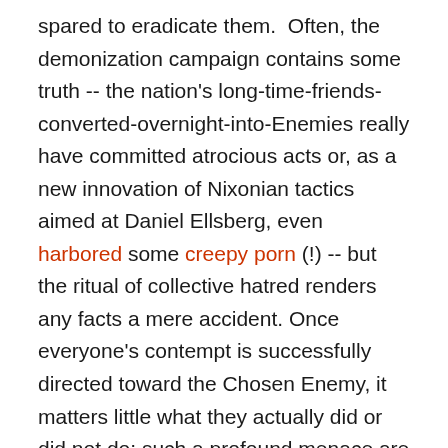spared to eradicate them.  Often, the demonization campaign contains some truth -- the nation's long-time-friends-converted-overnight-into-Enemies really have committed atrocious acts or, as a new innovation of Nixonian tactics aimed at Daniel Ellsberg, even harbored some creepy porn (!) -- but the ritual of collective hatred renders any facts a mere accident. Once everyone's contempt is successfully directed toward the Chosen Enemy, it matters little what they actually did or did not do: such a profound menace are they to all that is Good that exaggerations or even lies about their bad acts are ennobled, in service of a Good Cause; conversely, to question the demonization or object to what is done to them is, by definition, to side with Evil.